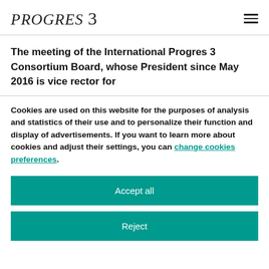PROGRES 3
The meeting of the International Progres 3 Consortium Board, whose President since May 2016 is vice rector for
Cookies are used on this website for the purposes of analysis and statistics of their use and to personalize their function and display of advertisements. If you want to learn more about cookies and adjust their settings, you can change cookies preferences.
Accept all
Reject